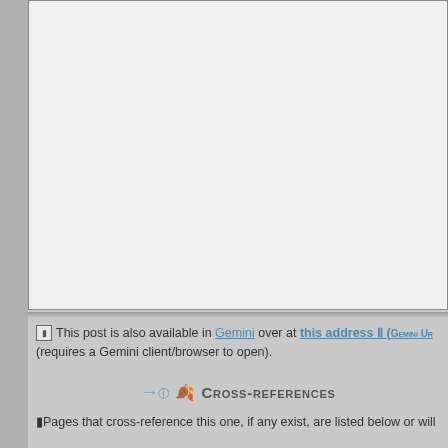[Figure (other): Empty light gray framed box representing an image or embedded content placeholder]
This post is also available in Gemini over at this address Ⅱ (Gemini URL) (requires a Gemini client/browser to open).
Cross-references
Pages that cross-reference this one, if any exist, are listed below or will